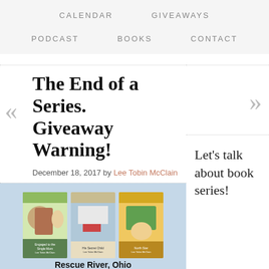CALENDAR   GIVEAWAYS   PODCAST   BOOKS   CONTACT
The End of a Series. Giveaway Warning!
December 18, 2017 by Lee Tobin McClain
[Figure (illustration): Three book covers for the Rescue River, Ohio series by Lee Tobin McClain against a light blue background. Books titled include 'Engaged to the Single Mom', 'His Secret Child', and a third book. Below the covers the text reads 'Rescue River, Ohio' in bold and 'all are welcome, all are safe' in smaller text.]
Let’s talk about book series!